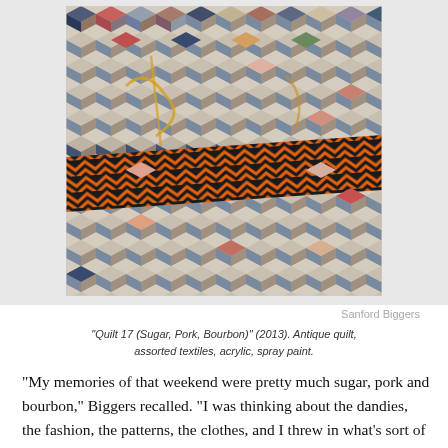[Figure (photo): Photograph of an antique quilt artwork by Sanford Biggers titled 'Quilt 17 (Sugar, Pork, Bourbon)' (2013). The quilt features a tumbling blocks / 3D cube pattern in various fabrics — navy, gray, cream, red, floral prints — with a diagonal orange-and-black chevron zigzag band running across the middle of the quilt. Additional painted or applied abstract marks in gold/yellow are visible on top of the quilt surface.]
Sanford Biggers
"Quilt 17 (Sugar, Pork, Bourbon)" (2013). Antique quilt, assorted textiles, acrylic, spray paint.
“My memories of that weekend were pretty much sugar, pork and bourbon,” Biggers recalled. “I was thinking about the dandies, the fashion, the patterns, the clothes, and I threw in what’s sort of a break dancing reference.” He was referring to the painted